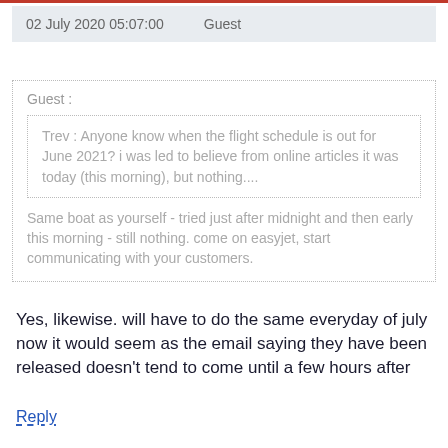02 July 2020 05:07:00    Guest
Guest :
Trev : Anyone know when the flight schedule is out for June 2021? i was led to believe from online articles it was today (this morning), but nothing....
Same boat as yourself - tried just after midnight and then early this morning - still nothing. come on easyjet, start communicating with your customers.
Yes, likewise. will have to do the same everyday of july now it would seem as the email saying they have been released doesn't tend to come until a few hours after
Reply